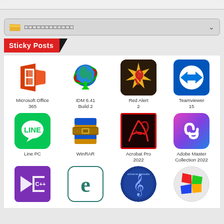[Figure (screenshot): Top gray bar (partial UI element)]
□□□□□□□□□□□□ (folder/category dropdown row)
Sticky Posts
[Figure (infographic): Grid of software app icons: Row1: Microsoft Office 365, IDM 6.41 Build 2, Red Alert 2, Teamviewer 15. Row2: Line PC, WinRAR, Acrobat Pro 2022, Adobe Master Collection 2022. Row3 (partial): Visual Studio C++, ESET (e), Extreme Karaoke, Windows 7]